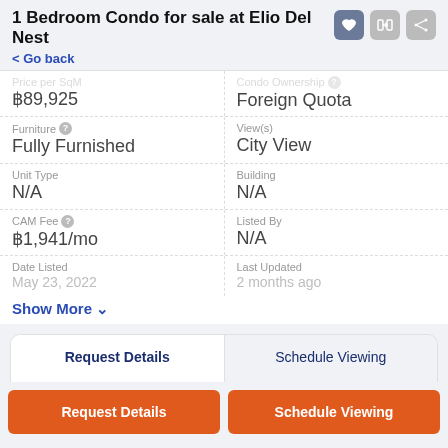1 Bedroom Condo for sale at Elio Del Nest
< Go back
| Field | Value |
| --- | --- |
| Price per SqM | ฿89,925 |
| Condo Ownership | Foreign Quota |
| Furniture | Fully Furnished |
| View(s) | City View |
| Unit Type | N/A |
| Building | N/A |
| CAM Fee | ฿1,941/mo |
| Listed By | N/A |
| Date Listed | May 23, 2022 |
| Last Updated | 2 months ago |
Show More ∨
Request Details | Schedule Viewing
Request Details
Schedule Viewing